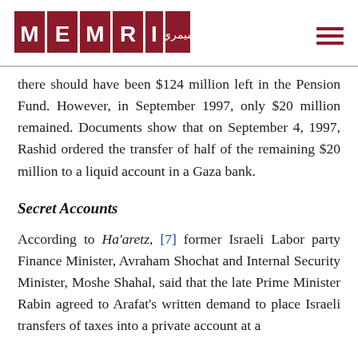MEMRI [logo]
there should have been $124 million left in the Pension Fund. However, in September 1997, only $20 million remained. Documents show that on September 4, 1997, Rashid ordered the transfer of half of the remaining $20 million to a liquid account in a Gaza bank.
Secret Accounts
According to Ha'aretz, [7] former Israeli Labor party Finance Minister, Avraham Shochat and Internal Security Minister, Moshe Shahal, said that the late Prime Minister Rabin agreed to Arafat's written demand to place Israeli transfers of taxes into a private account at a